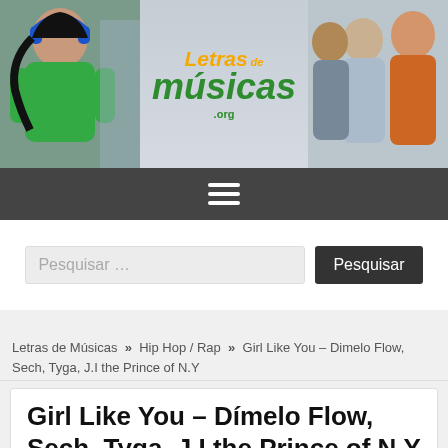[Figure (photo): Letras de Músicas website header banner with people dancing and logo]
[Figure (other): Navigation hamburger menu icon on dark gray bar]
Pesquisar …
Letras de Músicas » Hip Hop / Rap » Girl Like You – Dimelo Flow, Sech, Tyga, J.I the Prince of N.Y
Girl Like You – Dímelo Flow, Sech, Tyga, J.I the Prince of N.Y